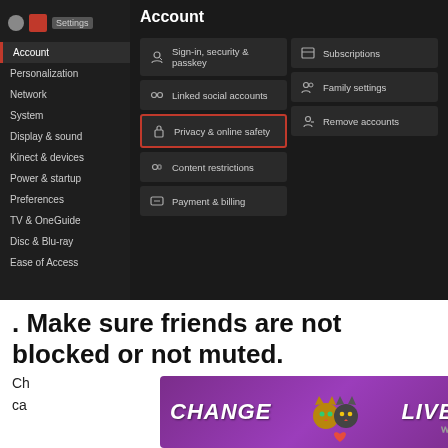[Figure (screenshot): Xbox/Windows settings screenshot showing Account settings menu with options: Sign-in security & passkey, Linked social accounts, Privacy & online safety (highlighted with red border), Content restrictions, Payment & billing on the left panel; Subscriptions, Family settings, Remove accounts on the right panel. Left sidebar shows navigation items: Account (active), Personalization, Network, System, Display & sound, Kinect & devices, Power & startup, Preferences, TV & OneGuide, Disc & Blu-ray, Ease of Access.]
Make sure friends are not blocked or not muted.
[Figure (photo): Advertisement banner with purple gradient background showing cats and text 'CHANGE LIVES' with a close button and logo.]